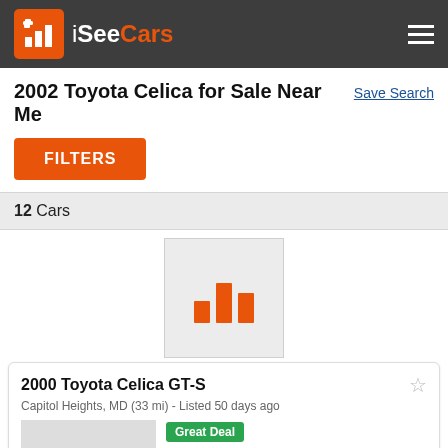iSeeCars
2002 Toyota Celica for Sale Near Me
Save Search
FILTERS
12 Cars
[Figure (illustration): iSeeCars bar chart icon placeholder (orange bars on light gray background)]
2000 Toyota Celica GT-S
Capitol Heights, MD (33 mi) - Listed 50 days ago
Great Deal
$703 Below Market
$5,999
143,522 mi